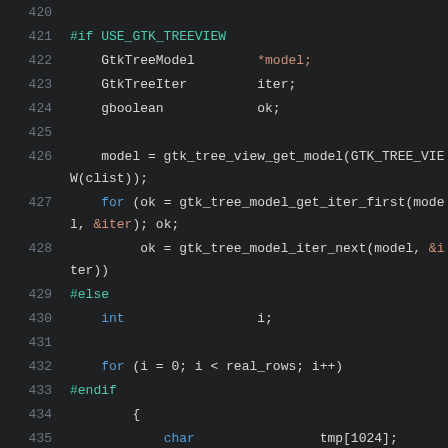[Figure (screenshot): Source code editor screenshot showing C code with GTK tree view iteration, lines 420-439, dark theme editor with syntax highlighting]